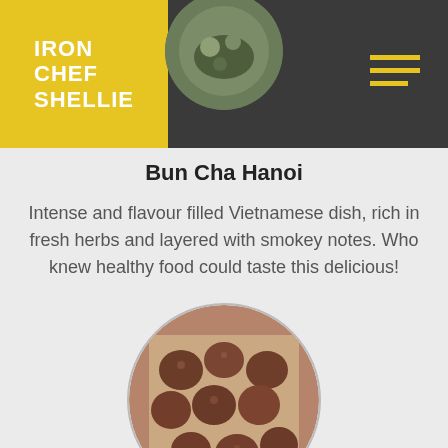IRON CHEF SHELLIE
[Figure (photo): Circular cropped photo of a Vietnamese dish (Bun Cha Hanoi) with herbs, partially visible at top of header]
Bun Cha Hanoi
Intense and flavour filled Vietnamese dish, rich in fresh herbs and layered with smokey notes. Who knew healthy food could taste this delicious!
[Figure (photo): Circular cropped photo of chocolate cookies on a baking tray, viewed from above]
Hot Chocolate Cookies